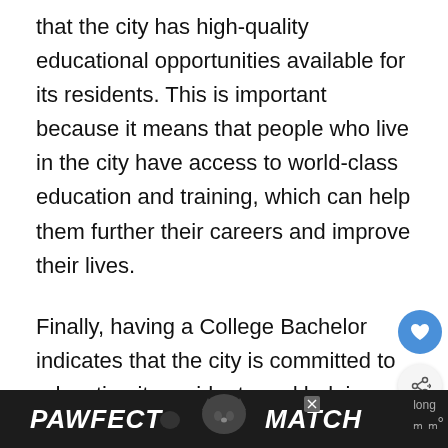that the city has high-quality educational opportunities available for its residents. This is important because it means that people who live in the city have access to world-class education and training, which can help them further their careers and improve their lives.
Finally, having a College Bachelor indicates that the city is committed to educating its residents and helping them achieve their potential. This is important because it means that the city is investing in its future and its
[Figure (infographic): UI overlay elements: heart/favorite button (blue circle with heart icon), share button (light circle with share icon), and a 'What's Next' widget showing '10 Best Beach Cities to Liv...']
[Figure (infographic): Advertisement banner: dark background with white bold italic text reading 'PAWFECT MATCH' with a cat illustration in the center, and an X close button.]